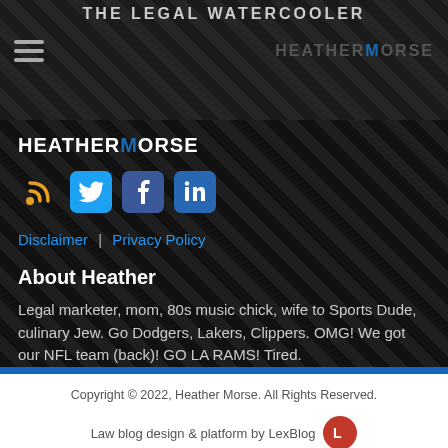THE LEGAL WATERCOOLER — HEATHERMORSE
HEATHERMORSE
[Figure (infographic): Social media icons: RSS (orange), Twitter (blue), Facebook (dark blue), LinkedIn (blue)]
Disclaimer | Privacy Policy
About Heather
Legal marketer, mom, 80s music chick, wife to Sports Dude, culinary Jew. Go Dodgers, Lakers, Clippers. OMG! We got our NFL team (back)! GO LA RAMS! Tired.
Read More...
Copyright © 2022, Heather Morse. All Rights Reserved.
Law blog design & platform by LexBlog